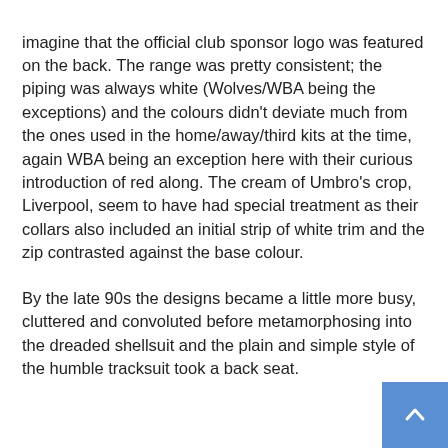imagine that the official club sponsor logo was featured on the back. The range was pretty consistent; the piping was always white (Wolves/WBA being the exceptions) and the colours didn't deviate much from the ones used in the home/away/third kits at the time, again WBA being an exception here with their curious introduction of red along. The cream of Umbro's crop, Liverpool, seem to have had special treatment as their collars also included an initial strip of white trim and the zip contrasted against the base colour.
By the late 90s the designs became a little more busy, cluttered and convoluted before metamorphosing into the dreaded shellsuit and the plain and simple style of the humble tracksuit took a back seat.